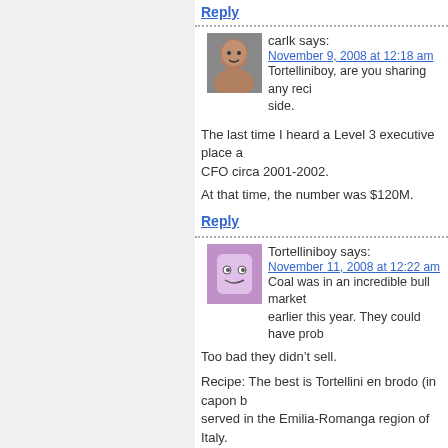Reply
carlk says:
November 9, 2008 at 12:18 am
Tortelliniboy, are you sharing any reci side.
The last time I heard a Level 3 executive place a CFO circa 2001-2002.
At that time, the number was $120M.
Reply
Tortelliniboy says:
November 11, 2008 at 12:22 am
Coal was in an incredible bull market earlier this year. They could have prob Too bad they didn't sell.
Recipe: The best is Tortellini en brodo (in capon b served in the Emilia-Romanga region of Italy.
Reply
carlk says:
November 11, 2008 at 3:09 am
Grazia!
You may be right about coal, at the same time we higher energy costs.